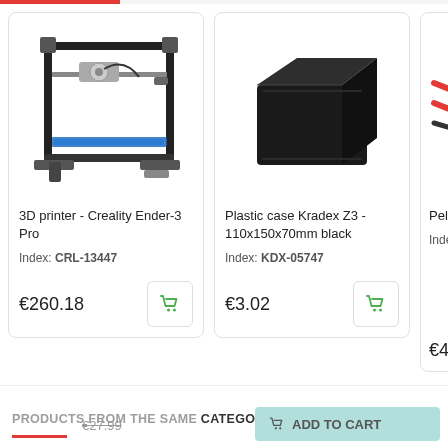[Figure (photo): 3D printer - Creality Ender-3 Pro product image]
3D printer - Creality Ender-3 Pro
Index: CRL-13447
€260.18
[Figure (photo): Plastic case Kradex Z3 - 110x150x70mm black product image]
Plastic case Kradex Z3 - 110x150x70mm black
Index: KDX-05747
€3.02
[Figure (photo): Peltier module partial image]
Peltier 12V/6a (partial)
Index: (partial)
€4.32
PRODUCTS FROM THE SAME CATEGORY
€27.99
ADD TO CART